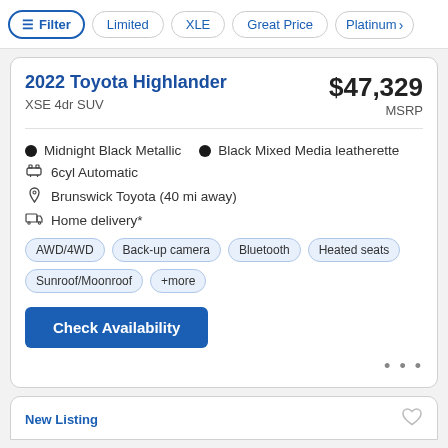Filter | Limited | XLE | Great Price | Platinum >
2022 Toyota Highlander
XSE 4dr SUV
$47,329 MSRP
Midnight Black Metallic  •  Black Mixed Media leatherette
6cyl Automatic
Brunswick Toyota (40 mi away)
Home delivery*
AWD/4WD
Back-up camera
Bluetooth
Heated seats
Sunroof/Moonroof
+more
Check Availability
New Listing